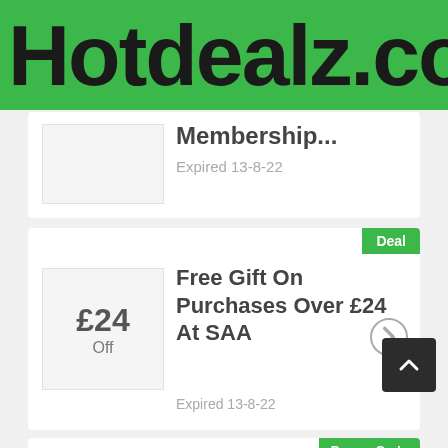Hotdealz.co.uk
Membership... Expired 13-8-22
Deal
£24 Off
Free Gift On Purchases Over £24 At SAA
Expired 13-8-22
Promo Code
50%
With SAA Voucher Code Up To 50% Off